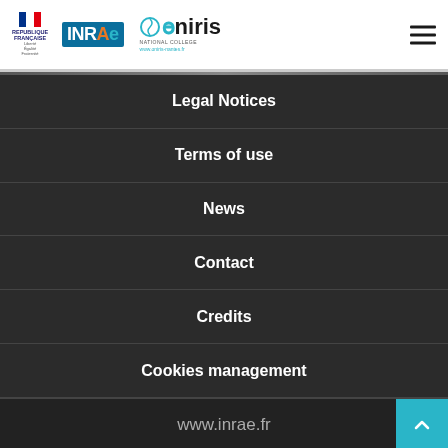REPUBLIQUE FRANÇAISE | INRAE | Oniris
Legal Notices
Terms of use
News
Contact
Credits
Cookies management
www.inrae.fr